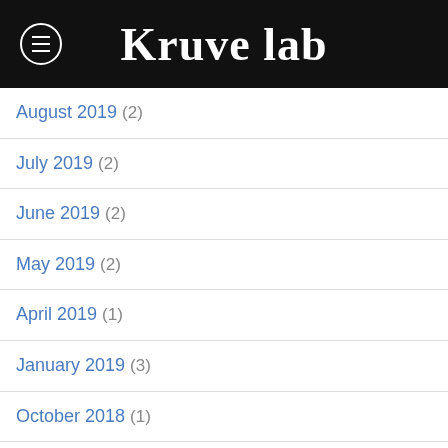Kruve lab
August 2019 (2)
July 2019 (2)
June 2019 (2)
May 2019 (2)
April 2019 (1)
January 2019 (3)
October 2018 (1)
September 2018 (2)
August 2018 (1)
July 2018 (1)